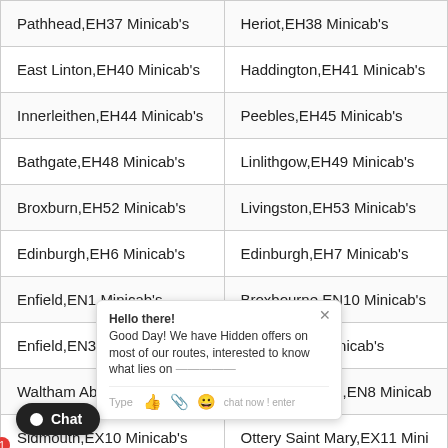| Pathhead,EH37 Minicab's | Heriot,EH38 Minicab's |
| East Linton,EH40 Minicab's | Haddington,EH41 Minicab's |
| Innerleithen,EH44 Minicab's | Peebles,EH45 Minicab's |
| Bathgate,EH48 Minicab's | Linlithgow,EH49 Minicab's |
| Broxburn,EH52 Minicab's | Livingston,EH53 Minicab's |
| Edinburgh,EH6 Minicab's | Edinburgh,EH7 Minicab's |
| Enfield,EN1 Minicab's | Broxbourne,EN10 Minicab's |
| En[field,EN3 Minicab's] | Barnet,EN4 Minicab's |
| Wa[ltham Abbey,EN]7 Minicab's | Waltham Cross,EN8 Minicab's |
| Sid[mouth,EX10 M]inicab's | Ottery Saint Mary,EX11 Mini... |
| Ho[niton,EX14 Mi]cab's | Cullompton,EX15 Minicab's |
| [Chulmle]igh,EX18 Minicab's | Winkleigh,EX19 Minicab's |
[Figure (other): Live chat popup overlay showing 'Hello there! Good Day! We have Hidden offers on most of our routes, interested to know what lies on...' with Type/emoji input row and chat button at bottom left with notification badge '1']